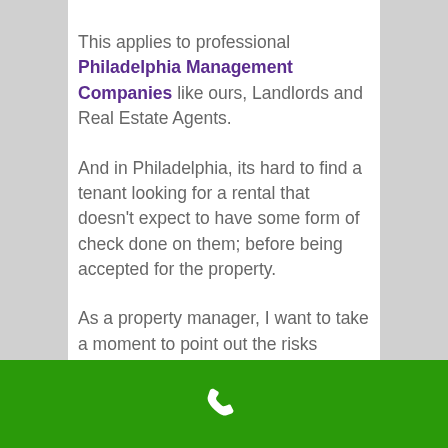This applies to professional Philadelphia Management Companies like ours, Landlords and Real Estate Agents.
And in Philadelphia, its hard to find a tenant looking for a rental that doesn't expect to have some form of check done on them; before being accepted for the property.
As a property manager, I want to take a moment to point out the risks involved in solely depending on a credit score. Through the years, my company has evolved to see their are several other factors and components that need to be in place, in tenant selection. Let me share
[phone icon]